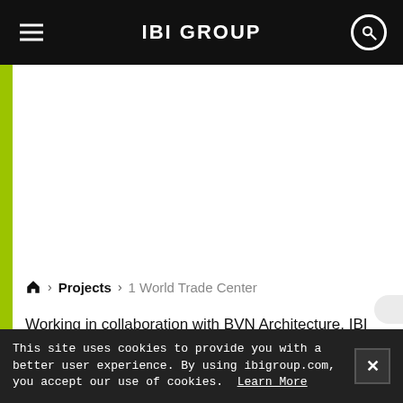IBI GROUP
Home > Projects > 1 World Trade Center
Working in collaboration with BVN Architecture, IBI Group acted as architect of record to create a new home for global consulting and IT leader Infosys, situated inside New York City's most important
This site uses cookies to provide you with a better user experience. By using ibigroup.com, you accept our use of cookies. Learn More